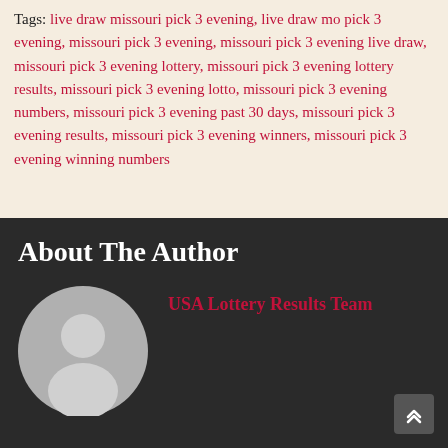Tags: live draw missouri pick 3 evening, live draw mo pick 3 evening, missouri pick 3 evening, missouri pick 3 evening live draw, missouri pick 3 evening lottery, missouri pick 3 evening lottery results, missouri pick 3 evening lotto, missouri pick 3 evening numbers, missouri pick 3 evening past 30 days, missouri pick 3 evening results, missouri pick 3 evening winners, missouri pick 3 evening winning numbers
About The Author
USA Lottery Results Team
[Figure (illustration): Generic avatar placeholder showing a silhouette of a person (head and shoulders) in grey tones on a lighter grey circular background]